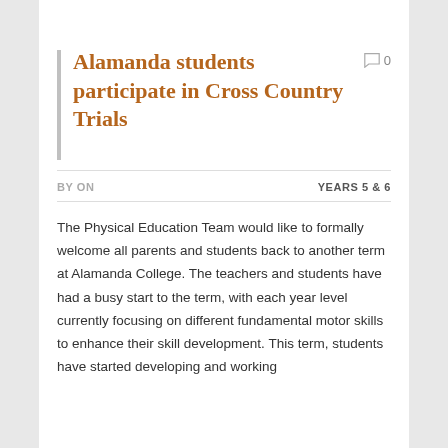Alamanda students participate in Cross Country Trials
BY ON
YEARS 5 & 6
The Physical Education Team would like to formally welcome all parents and students back to another term at Alamanda College. The teachers and students have had a busy start to the term, with each year level currently focusing on different fundamental motor skills to enhance their skill development. This term, students have started developing and working